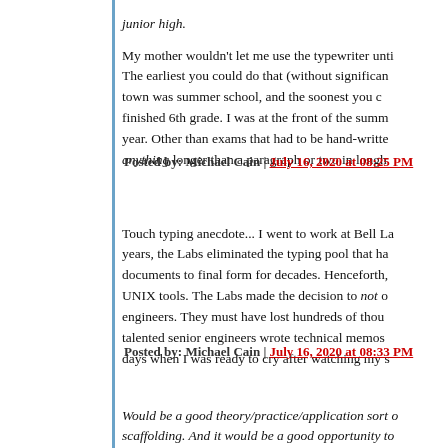junior high.
My mother wouldn't let me use the typewriter until... The earliest you could do that (without significant) town was summer school, and the soonest you could finished 6th grade. I was at the front of the summer year. Other than exams that had to be hand-written anything longer than a paragraph or two in longha...
Posted by: Michael Cain | July 16, 2020 at 08:25 PM
Touch typing anecdote... I went to work at Bell La... years, the Labs eliminated the typing pool that ha... documents to final form for decades. Henceforth, UNIX tools. The Labs made the decision to not of... engineers. They must have lost hundreds of thous... talented senior engineers wrote technical memos... days when I was ready to cry after watching my s...
Posted by: Michael Cain | July 16, 2020 at 08:33 PM
Would be a good theory/practice/application sort ... scaffolding. And it would be a good opportunity to...